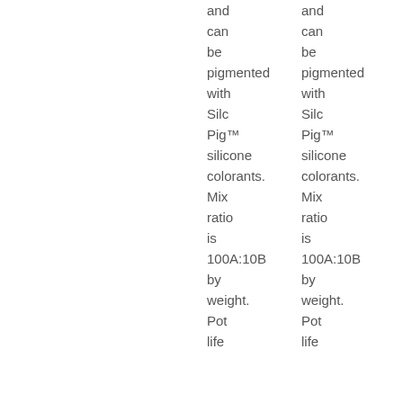and can be pigmented with Silc Pig™ silicone colorants. Mix ratio is 100A:10B by weight. Pot life
and can be pigmented with Silc Pig™ silicone colorants. Mix ratio is 100A:10B by weight. Pot life